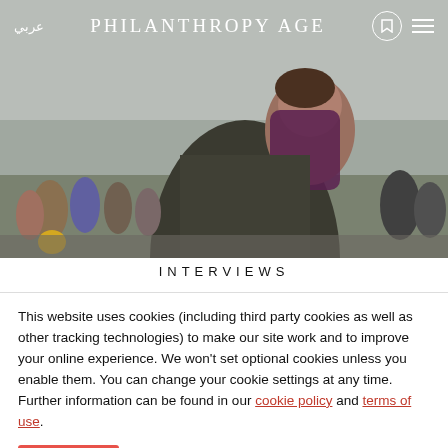[Figure (photo): A child resting their head on an adult's shoulder in a crowd of people outdoors, likely a refugee scene.]
عربي   PHILANTHROPY AGE
INTERVIEWS
This website uses cookies (including third party cookies as well as other tracking technologies) to make our site work and to improve your online experience. We won't set optional cookies unless you enable them. You can change your cookie settings at any time. Further information can be found in our cookie policy and terms of use.
Accept